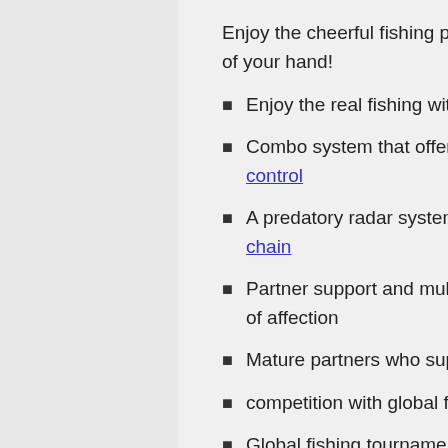Enjoy the cheerful fishing play with First-Person HUD angle style in the palm of your hand!
Enjoy the real fishing with Full 3D
Combo system that offers ultra-strong hand taste with rhythmic tension control
A predatory radar system that can vividly feel the pressure of the food chain
Partner support and multiple skills that are open according to the degree of affection
Mature partners who support lovely support and play supporters
competition with global fishers
Global fishing tournament, The Master Cup event